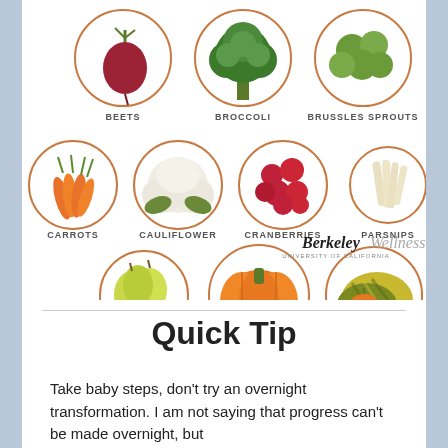[Figure (infographic): Infographic showing seasonal produce in circular frames with copper/orange borders. Row 1: Beets, Broccoli, Brussels Sprouts. Row 2: Carrots, Cauliflower, Cranberries, Parsnips. Row 3: Pears, Pumpkins, Winter Squash. Berkeley Wellness logo at bottom right.]
Quick Tip
Take baby steps, don't try an overnight transformation. I am not saying that progress can't be made overnight, but